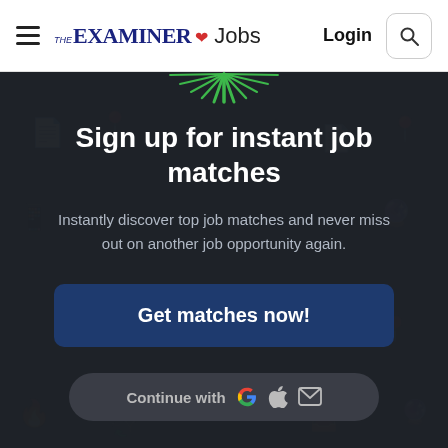THE EXAMINER Jobs — Login
[Figure (screenshot): Dark promotional banner with green starburst icon at top, background watermark icons of job-related symbols]
Sign up for instant job matches
Instantly discover top job matches and never miss out on another job opportunity again.
Get matches now!
Continue with Google Apple Mail